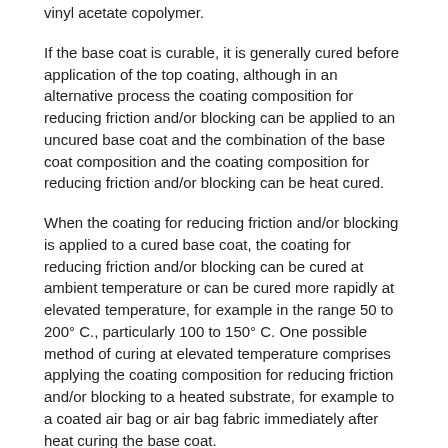vinyl acetate copolymer.
If the base coat is curable, it is generally cured before application of the top coating, although in an alternative process the coating composition for reducing friction and/or blocking can be applied to an uncured base coat and the combination of the base coat composition and the coating composition for reducing friction and/or blocking can be heat cured.
When the coating for reducing friction and/or blocking is applied to a cured base coat, the coating for reducing friction and/or blocking can be cured at ambient temperature or can be cured more rapidly at elevated temperature, for example in the range 50 to 200° C., particularly 100 to 150° C. One possible method of curing at elevated temperature comprises applying the coating composition for reducing friction and/or blocking to a heated substrate, for example to a coated air bag or air bag fabric immediately after heat curing the base coat.
The coating of the invention provides a low friction surface on the substrate to which it is applied. When applied over a coating having a high coefficient of friction, the coating of the invention reduces friction at the coated air bag surface and thus reduces wear of the air bag when it is subjected to movement when a vehicle is in use; such wear may result in reduced pressure retention of the air bag.
The coatings of the invention also inhibit blocking of the coated fabric